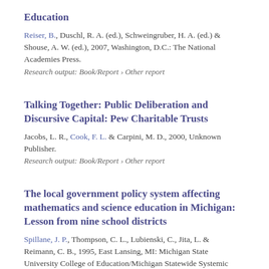Education
Reiser, B., Duschl, R. A. (ed.), Schweingruber, H. A. (ed.) & Shouse, A. W. (ed.), 2007, Washington, D.C.: The National Academies Press.
Research output: Book/Report › Other report
Talking Together: Public Deliberation and Discursive Capital: Pew Charitable Trusts
Jacobs, L. R., Cook, F. L. & Carpini, M. D., 2000, Unknown Publisher.
Research output: Book/Report › Other report
The local government policy system affecting mathematics and science education in Michigan: Lesson from nine school districts
Spillane, J. P., Thompson, C. L., Lubienski, C., Jita, L. & Reimann, C. B., 1995, East Lansing, MI: Michigan State University College of Education/Michigan Statewide Systemic Initiative.
Research output: Book/Report › Other report